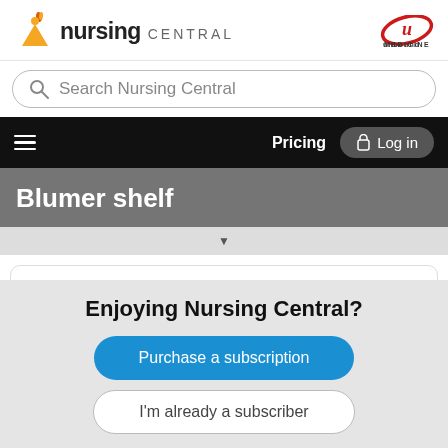[Figure (logo): Nursing Central logo with orange flame/person icon, 'nursing' in bold dark text and 'CENTRAL' in lighter smaller caps]
[Figure (logo): Unbound Medicine logo — red oval with white cursive 'u', text 'unbound MEDICINE' below]
Search Nursing Central
Pricing
Log in
Blumer shelf
Taber's Medical Dictionary
Enjoying Nursing Central?
Purchase a subscription
I'm already a subscriber